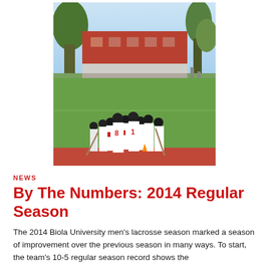[Figure (photo): Lacrosse team huddle on a green field with red running track, red brick building in background, trees visible, players wearing white jerseys with red numbers 8 and 1]
NEWS
By The Numbers: 2014 Regular Season
The 2014 Biola University men's lacrosse season marked a season of improvement over the previous season in many ways. To start, the team's 10-5 regular season record shows the